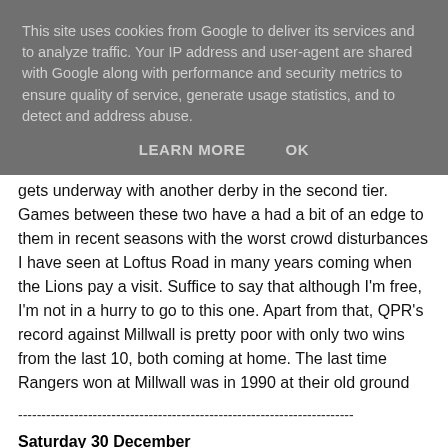This site uses cookies from Google to deliver its services and to analyze traffic. Your IP address and user-agent are shared with Google along with performance and security metrics to ensure quality of service, generate usage statistics, and to detect and address abuse.
LEARN MORE   OK
gets underway with another derby in the second tier. Games between these two have a had a bit of an edge to them in recent seasons with the worst crowd disturbances I have seen at Loftus Road in many years coming when the Lions pay a visit. Suffice to say that although I'm free, I'm not in a hurry to go to this one. Apart from that, QPR's record against Millwall is pretty poor with only two wins from the last 10, both coming at home. The last time Rangers won at Millwall was in 1990 at their old ground
------------------------------------------------------------------------
Saturday 30 December
D...